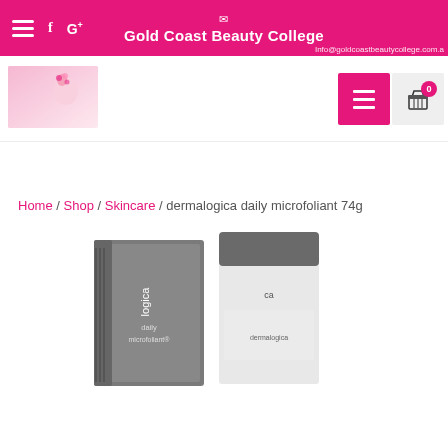Gold Coast Beauty College — info@goldcoastbeautycollege.com.a
[Figure (screenshot): Navigation bar with logo, menu button (hamburger) in pink, and cart button with badge showing 0]
Home / Shop / Skincare / dermalogica daily microfoliant 74g
[Figure (photo): Dermalogica daily microfoliant 74g product — grey box packaging and cylindrical container with cap]